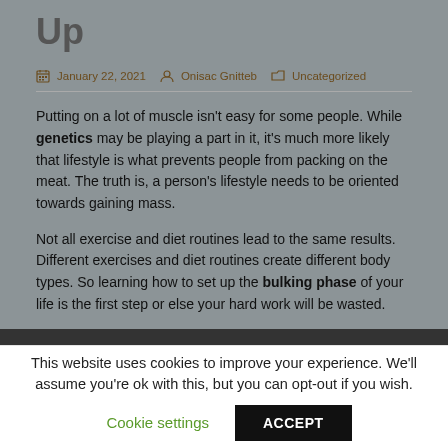Up
January 22, 2021   Onisac Gnitteb   Uncategorized
Putting on a lot of muscle isn't easy for some people. While genetics may be playing a part in it, it's much more likely that lifestyle is what prevents people from packing on the meat. The truth is, a person's lifestyle needs to be oriented towards gaining mass.
Not all exercise and diet routines lead to the same results. Different exercises and diet routines create different body types. So learning how to set up the bulking phase of your life is the first step or else your hard work will be wasted.
[Figure (photo): Partial dark strip at the bottom of main content area]
This website uses cookies to improve your experience. We'll assume you're ok with this, but you can opt-out if you wish.
Cookie settings   ACCEPT